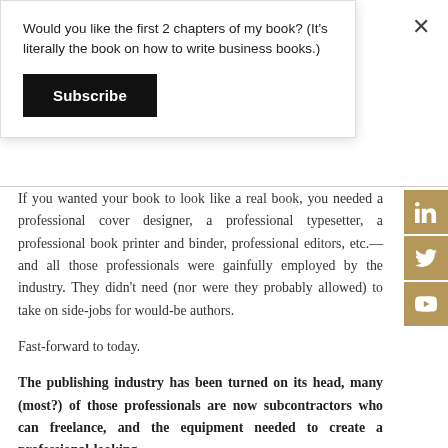Would you like the first 2 chapters of my book? (It's literally the book on how to write business books.)
Subscribe
If you wanted your book to look like a real book, you needed a professional cover designer, a professional typesetter, a professional book printer and binder, professional editors, etc.—and all those professionals were gainfully employed by the industry. They didn't need (nor were they probably allowed) to take on side-jobs for would-be authors.
Fast-forward to today.
The publishing industry has been turned on its head, many (most?) of those professionals are now subcontractors who can freelance, and the equipment needed to create a professional-looking